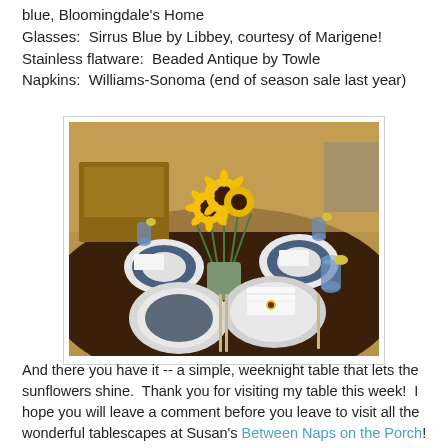blue, Bloomingdale's Home
Glasses:  Sirrus Blue by Libbey, courtesy of Marigene!
Stainless flatware:  Beaded Antique by Towle
Napkins:  Williams-Sonoma (end of season sale last year)
[Figure (photo): A table set with blue glasses, white plates with blue bowls, white folded napkins, stainless flatware, and a vase of yellow sunflowers as a centerpiece on a dark wood table.]
And there you have it -- a simple, weeknight table that lets the sunflowers shine.  Thank you for visiting my table this week!  I hope you will leave a comment before you leave to visit all the wonderful tablescapes at Susan's Between Naps on the Porch!